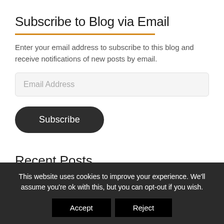Subscribe to Blog via Email
Enter your email address to subscribe to this blog and receive notifications of new posts by email.
Email Address
Subscribe
Recent Posts
This website uses cookies to improve your experience. We'll assume you're ok with this, but you can opt-out if you wish.
Accept
Reject